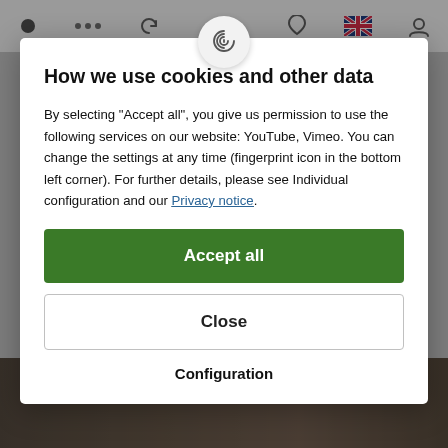[Figure (screenshot): Mobile browser top navigation bar with icons: circle, dots, refresh, fingerprint (centered, raised in circle), heart, UK flag, search]
How we use cookies and other data
By selecting "Accept all", you give us permission to use the following services on our website: YouTube, Vimeo. You can change the settings at any time (fingerprint icon in the bottom left corner). For further details, please see Individual configuration and our Privacy notice.
Accept all
Close
Configuration
[Figure (photo): Partial view of leather shoes/boots at the bottom of the screen behind the modal]